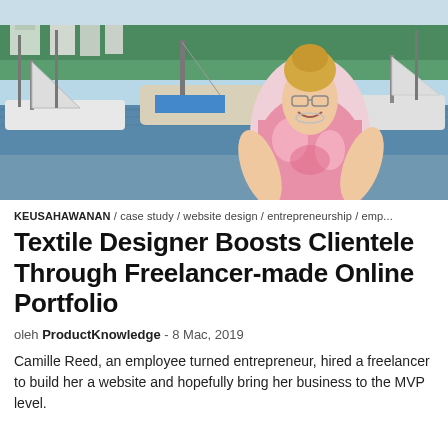[Figure (photo): Woman smiling at a marina with sailboats in the background on a sunny day. She is wearing a pink floral sleeveless top and glasses.]
KEUSAHAWANAN / case study / website design / entrepreneurship / emp...
Textile Designer Boosts Clientele Through Freelancer-made Online Portfolio
oleh ProductKnowledge - 8 Mac, 2019
Camille Reed, an employee turned entrepreneur, hired a freelancer to build her a website and hopefully bring her business to the MVP level.